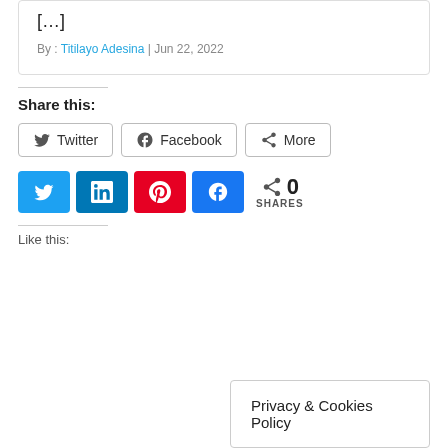[…]
By : Titilayo Adesina | Jun 22, 2022
Share this:
Twitter
Facebook
More
0 SHARES
Privacy & Cookies Policy